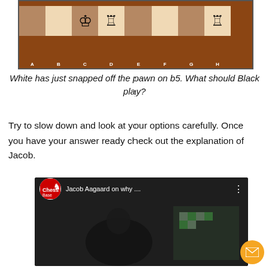[Figure (illustration): Chess board position showing rank 1 with white King on c1, white Rook on d1, and white Rook on h1, with column labels A through H]
White has just snapped off the pawn on b5. What should Black play?
Try to slow down and look at your options carefully. Once you have your answer ready check out the explanation of Jacob.
[Figure (screenshot): YouTube video embed titled 'Jacob Aagaard on why ...' with ChessBase logo, red play button, and a dark video thumbnail showing a person and a chess board on screen]